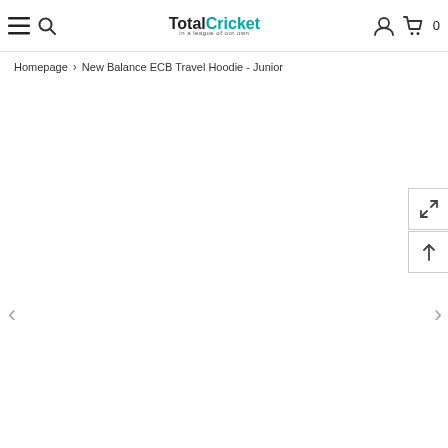TotalCricket - in a league of our own
Homepage > New Balance ECB Travel Hoodie - Junior
[Figure (other): Empty main product image area with left and right navigation arrows and side control buttons (expand and scroll-to-top)]